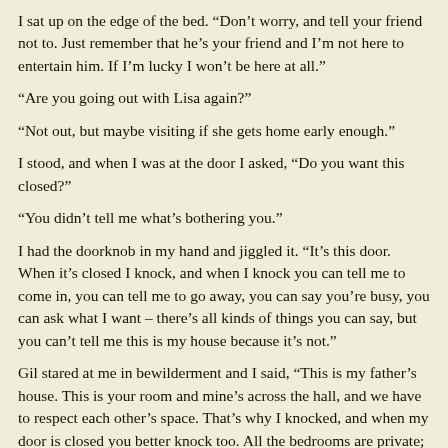I sat up on the edge of the bed.  “Don’t worry, and tell your friend not to.  Just remember that he’s your friend and I’m not here to entertain him.  If I’m lucky I won’t be here at all.”
“Are you going out with Lisa again?”
“Not out, but maybe visiting if she gets home early enough.”
I stood, and when I was at the door I asked, “Do you want this closed?”
“You didn’t tell me what’s bothering you.”
I had the doorknob in my hand and jiggled it.  “It’s this door.  When it’s closed I knock, and when I knock you can tell me to come in, you can tell me to go away, you can say you’re busy, you can ask what I want – there’s all kinds of things you can say, but you can’t tell me this is my house because it’s not.”
Gil stared at me in bewilderment and I said, “This is my father’s house. This is your room and mine’s across the hall, and we have to respect each other’s space.  That’s why I knocked, and when my door is closed you better knock too.  All the bedrooms are private; everything else is shared.  When we’re in this house we’re on equal footing.  Got that?”